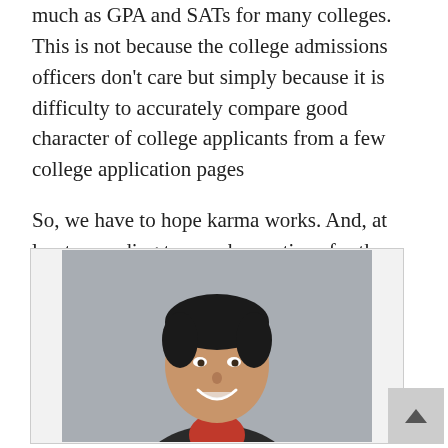much as GPA and SATs for many colleges.  This is not because the college admissions officers don't care but simply because it is difficulty to accurately compare good character of college applicants from a few college application pages
So, we have to hope karma works.  And, at least according to my observations for the past 15 years, it does!
[Figure (photo): Professional headshot of a smiling man with dark hair, wearing a dark suit jacket and red shirt, against a grey background.]